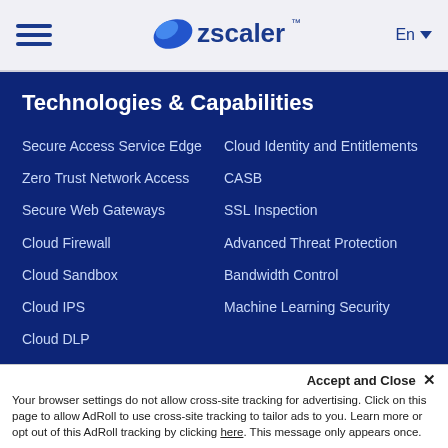Zscaler — En
Technologies & Capabilities
Secure Access Service Edge
Zero Trust Network Access
Secure Web Gateways
Cloud Firewall
Cloud Sandbox
Cloud IPS
Cloud DLP
Cloud Browser Isolation
Cloud Identity and Entitlements
CASB
SSL Inspection
Advanced Threat Protection
Bandwidth Control
Machine Learning Security
Popular Links    Information
Accept and Close ×
Your browser settings do not allow cross-site tracking for advertising. Click on this page to allow AdRoll to use cross-site tracking to tailor ads to you. Learn more or opt out of this AdRoll tracking by clicking here. This message only appears once.